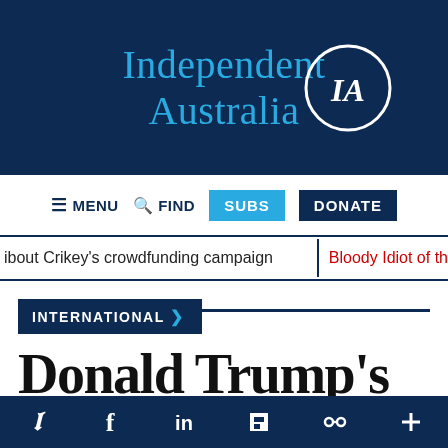Independent Australia IA
MENU FIND SUBS DONATE
about Crikey's crowdfunding campaign | Bloody Idiot of th
INTERNATIONAL >
Donald Trump's impeachment
Twitter Facebook LinkedIn Flipboard Share +